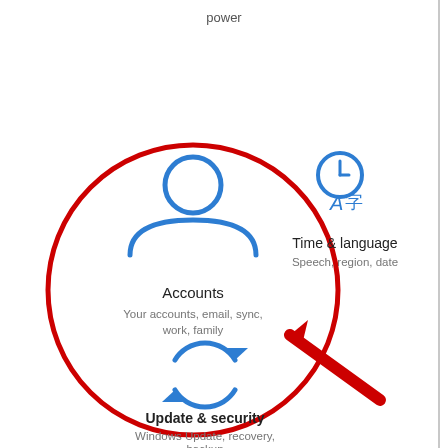[Figure (screenshot): Windows 10 Settings screen showing Accounts tile (highlighted with red circle), Time & language tile, Update & security tile, and a red arrow pointing to the Accounts tile. The Accounts tile shows a person icon, label 'Accounts', and subtitle 'Your accounts, email, sync, work, family'. Time & language shows a clock/language icon and subtitle 'Speech, region, date'. Update & security shows a sync/refresh icon and subtitle 'Windows Update, recovery, backup'.]